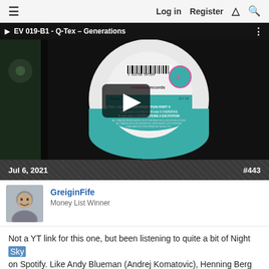≡   Log in   Register   ⚡   🔍
[Figure (screenshot): YouTube video thumbnail showing a vinyl record label for 'EV 019-B1 - Q-Tex - Generations' on Evolution Records, 45rpm, EV 19. Black background with play button overlay.]
Jul 6, 2021   #443
GreiginFife
Money List Winner
Not a YT link for this one, but been listening to quite a bit of Night Sky on Spotify. Like Andy Blueman (Andrej Komatovic), Henning Berg (AKA Night Sky) is also a producer of epic "cinematic" type score but